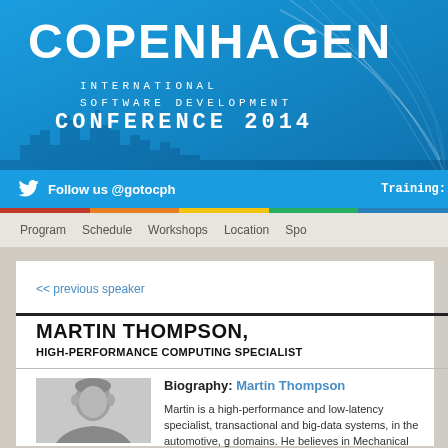[Figure (illustration): Copenhagen International Software Development Conference 2014 banner header with blue gradient background, city skyline silhouette, and wave design elements]
COPENHAGEN
INTERNATIONAL SOFTWARE DEVELOPMENT
CONFERENCE 2014
Follow us @gotocph
Training:
Program   Schedule   Workshops   Location   Spo
<< previous speaker
MARTIN THOMPSON,
HIGH-PERFORMANCE COMPUTING SPECIALIST
[Figure (photo): Black and white headshot photo of Martin Thompson]
Biography: Martin Thompson
Martin is a high-performance and low-latency specialist, transactional and big-data systems, in the automotive, g domains. He believes in Mechanical Sympathy, which is t